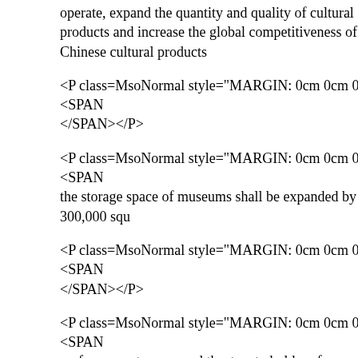operate, expand the quantity and quality of cultural products and increase the global competitiveness of Chinese cultural products
<P class=MsoNormal style="MARGIN: 0cm 0cm 0pt"><SPAN </SPAN></P>
<P class=MsoNormal style="MARGIN: 0cm 0cm 0pt"><SPAN the storage space of museums shall be expanded by 300,000 squ
<P class=MsoNormal style="MARGIN: 0cm 0cm 0pt"><SPAN </SPAN></P>
<P class=MsoNormal style="MARGIN: 0cm 0cm 0pt"><SPAN performance troupes and theaters to hold performances at lower calls on urban organizations and residents to donate televisions, video products to farmers.</SPAN></P>
<P class=MsoNormal style="MARGIN: 0cm 0cm 0pt"><SPAN </SPAN></P>
<P class=MsoNormal style="MARGIN: 0cm 0cm 0pt"><SPAN libraries, online theaters and a system to provide distance learni
<P class=MsoNormal style="MARGIN: 0cm 0cm 0pt"><SPAN </SPAN></P>